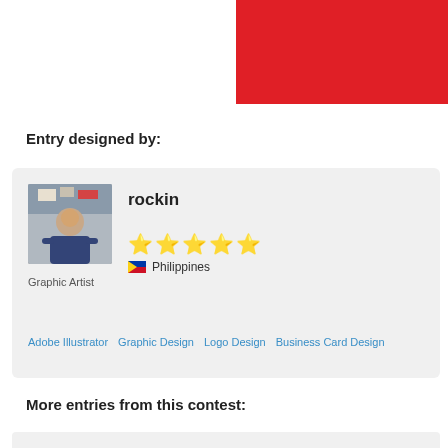[Figure (illustration): Red rectangular block in upper right corner]
Entry designed by:
[Figure (photo): Profile photo of rockin, a graphic artist from Philippines, with 5-star rating. Includes profile image, username 'rockin', 5 gold stars, Philippine flag and country name, occupation 'Graphic Artist', and skill tags: Adobe Illustrator, Graphic Design, Logo Design, Business Card Design]
More entries from this contest: